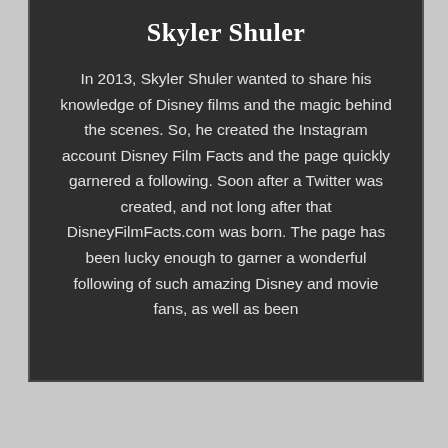Skyler Shuler
In 2013, Skyler Shuler wanted to share his knowledge of Disney films and the magic behind the scenes. So, he created the Instagram account Disney Film Facts and the page quickly garnered a following. Soon after a Twitter was created, and not long after that DisneyFilmFacts.com was born. The page has been lucky enough to garner a wonderful following of such amazing Disney and movie fans, as well as been